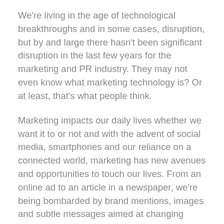We're living in the age of technological breakthroughs and in some cases, disruption, but by and large there hasn't been significant disruption in the last few years for the marketing and PR industry. They may not even know what marketing technology is? Or at least, that's what people think.
Marketing impacts our daily lives whether we want it to or not and with the advent of social media, smartphones and our reliance on a connected world, marketing has new avenues and opportunities to touch our lives. From an online ad to an article in a newspaper, we're being bombarded by brand mentions, images and subtle messages aimed at changing perception. This isn't now, but the scope and